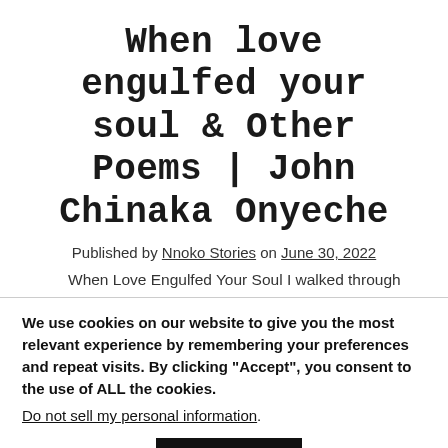When love engulfed your soul & Other Poems | John Chinaka Onyeche
Published by Nnoko Stories on June 30, 2022
When Love Engulfed Your Soul I walked through
We use cookies on our website to give you the most relevant experience by remembering your preferences and repeat visits. By clicking “Accept”, you consent to the use of ALL the cookies.
Do not sell my personal information.
Cookie settings   ACCEPT